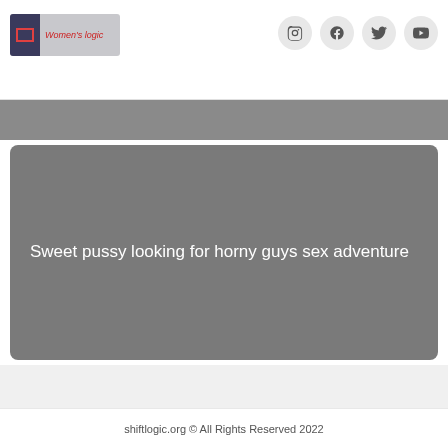Women's logic
[Figure (screenshot): Gray hero banner with text: Sweet pussy looking for horny guys sex adventure]
Sweet pussy looking for horny guys sex adventure
shiftlogic.org © All Rights Reserved 2022